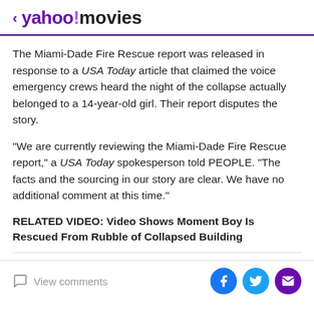< yahoo!movies
The Miami-Dade Fire Rescue report was released in response to a USA Today article that claimed the voice emergency crews heard the night of the collapse actually belonged to a 14-year-old girl. Their report disputes the story.
"We are currently reviewing the Miami-Dade Fire Rescue report," a USA Today spokesperson told PEOPLE. "The facts and the sourcing in our story are clear. We have no additional comment at this time."
RELATED VIDEO: Video Shows Moment Boy Is Rescued From Rubble of Collapsed Building
View comments